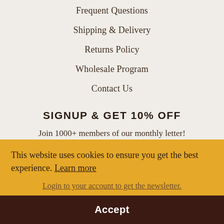Frequent Questions
Shipping & Delivery
Returns Policy
Wholesale Program
Contact Us
SIGNUP & GET 10% OFF
Join 1000+ members of our monthly letter!
JOIN NOW →
This website uses cookies to ensure you get the best experience. Learn more
Login to your account to get the newsletter.
Accept